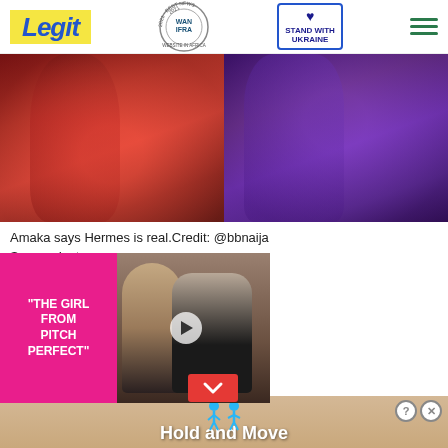Legit — WAN IFRA 2021 Best News Website in Africa — Stand With Ukraine
[Figure (photo): Two side-by-side celebrity photos: left shows a woman in a red sequined dress, right shows a man in a purple suit]
Amaka says Hermes is real.Credit: @bbnaija
Source: Instagram
In her words:
[Figure (other): Promotional video overlay for 'The Girl from Pitch Perfect' showing two people in formal attire]
...semate to win the show ...onates with real people only."
[Figure (other): Advertisement banner: Hold and Move with cartoon figures]